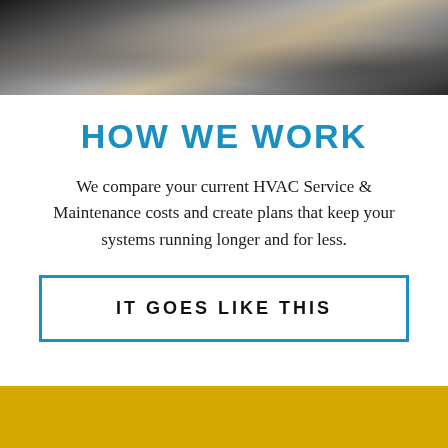[Figure (photo): Photo banner at top of page showing HVAC technician working with equipment, dark toned industrial image]
HOW WE WORK
We compare your current HVAC Service & Maintenance costs and create plans that keep your systems running longer and for less.
IT GOES LIKE THIS
[Figure (other): Gold/yellow decorative band at bottom of page]